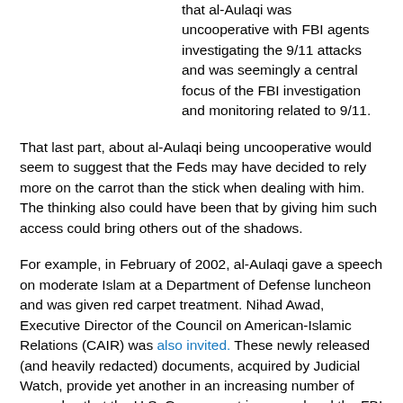that al-Aulaqi was uncooperative with FBI agents investigating the 9/11 attacks and was seemingly a central focus of the FBI investigation and monitoring related to 9/11.
That last part, about al-Aulaqi being uncooperative would seem to suggest that the Feds may have decided to rely more on the carrot than the stick when dealing with him. The thinking also could have been that by giving him such access could bring others out of the shadows.
For example, in February of 2002, al-Aulaqi gave a speech on moderate Islam at a Department of Defense luncheon and was given red carpet treatment. Nihad Awad, Executive Director of the Council on American-Islamic Relations (CAIR) was also invited. These newly released (and heavily redacted) documents, acquired by Judicial Watch, provide yet another in an increasing number of examples that the U.S. Government in general and the FBI in particular, knew a lot more about al-Aulaqi than they've been willing to admit.
Later that year, al-Aulaqi was detained at JFK airport and then released, despite there being an outstanding warrant for